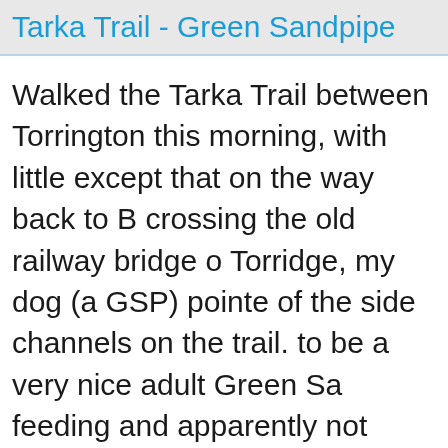Tarka Trail - Green Sandpipe
Walked the Tarka Trail between Torrington this morning, with little except that on the way back to B crossing the old railway bridge o Torridge, my dog (a GSP) pointe of the side channels on the trail. to be a very nice adult Green Sa feeding and apparently not bothe proximity of my dog (about 10mt views- and another nice Devon ' passed a guy with a very long le